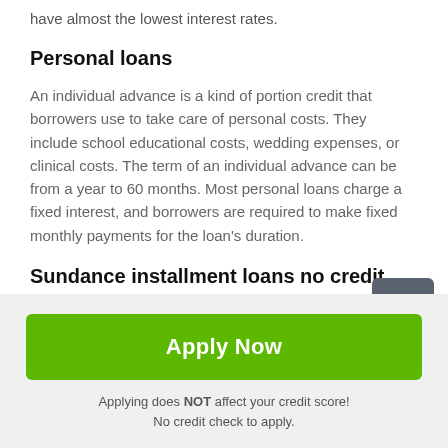have almost the lowest interest rates.
Personal loans
An individual advance is a kind of portion credit that borrowers use to take care of personal costs. They include school educational costs, wedding expenses, or clinical costs. The term of an individual advance can be from a year to 60 months. Most personal loans charge a fixed interest, and borrowers are required to make fixed monthly payments for the loan's duration.
Sundance installment loans no credit check the bottom line
Apply Now
Applying does NOT affect your credit score!
No credit check to apply.